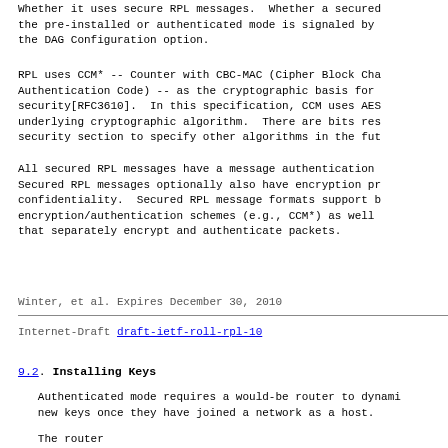Whether it uses secure RPL messages.  Whether a secured
the pre-installed or authenticated mode is signaled by
the DAG Configuration option.
RPL uses CCM* -- Counter with CBC-MAC (Cipher Block Cha
Authentication Code) -- as the cryptographic basis for
security[RFC3610].  In this specification, CCM uses AES
underlying cryptographic algorithm.  There are bits res
security section to specify other algorithms in the fut
All secured RPL messages have a message authentication
Secured RPL messages optionally also have encryption pr
confidentiality.  Secured RPL message formats support b
encryption/authentication schemes (e.g., CCM*) as well
that separately encrypt and authenticate packets.
Winter, et al.          Expires December 30, 2010
Internet-Draft          draft-ietf-roll-rpl-10
9.2.  Installing Keys
Authenticated mode requires a would-be router to dynami
new keys once they have joined a network as a host.
The router...